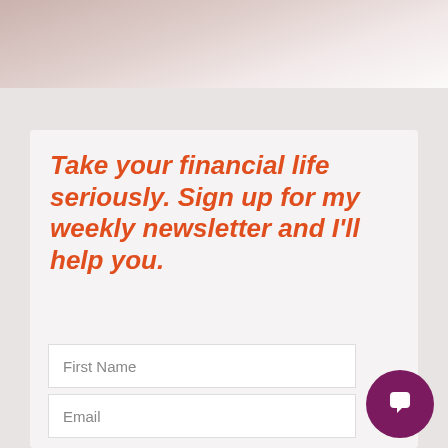[Figure (photo): Blurred background photo, light pinkish-grey tones, appears to be a person or landscape, cropped at top of page]
Take your financial life seriously. Sign up for my weekly newsletter and I'll help you.
First Name
Email